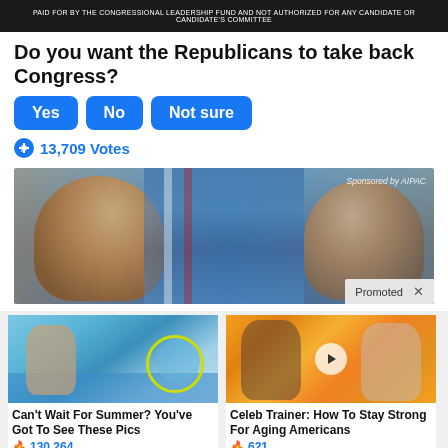[Figure (screenshot): Top dark banner with small white text: PAID FOR BY THE CONGRESSIONAL LEADERSHIP FUND AND NOT AUTHORIZED FOR ANY CANDIDATE OR CANDIDATE'S COMMITTEE]
Do you want the Republicans to take back Congress?
[Figure (infographic): Three blue poll buttons labeled Yes, No, Not sure]
13,709 Votes
[Figure (photo): Political photo showing two older men facing each other with flags in background. Sponsored by AIPAC label top right. Promoted x badge bottom right.]
[Figure (photo): Ad thumbnail: pool/water park scene with yellow circle highlighting a figure in water]
Can't Wait For Summer? You've Got To See These Pics
130,264
[Figure (illustration): Ad thumbnail: cartoon illustration of athletic people with fitness theme, orange background]
Celeb Trainer: How To Stay Strong For Aging Americans
621